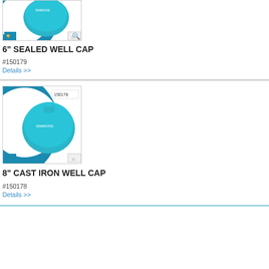[Figure (photo): 6 inch sealed well cap product image - teal/turquoise colored cap on blue and white background with magnify icon]
6" SEALED WELL CAP
#150179
Details >>
[Figure (photo): 8 inch cast iron well cap product image - teal/turquoise colored cast iron cap labeled 150178 on blue and white background with magnify icon]
8" CAST IRON WELL CAP
#150178
Details >>